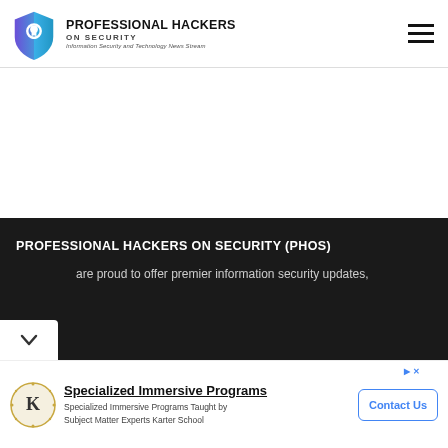[Figure (logo): Professional Hackers on Security logo with shield icon (blue/purple gradient), site name and tagline 'Information Security and Technology News Stream']
[Figure (other): Hamburger menu icon (three horizontal lines) in top right corner]
PROFESSIONAL HACKERS ON SECURITY (PHOS)
are proud to offer premier information security updates,
[Figure (other): Advertisement banner for Karter School Specialized Immersive Programs with K badge icon and Contact Us button]